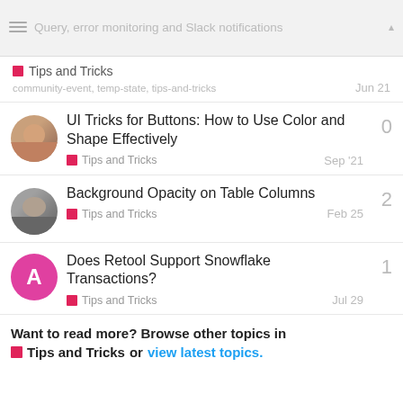Query, error monitoring and Slack notifications
Tips and Tricks
community-event, temp-state, tips-and-tricks
Jun 21
UI Tricks for Buttons: How to Use Color and Shape Effectively
Tips and Tricks
Sep '21
0
Background Opacity on Table Columns
Tips and Tricks
Feb 25
2
Does Retool Support Snowflake Transactions?
Tips and Tricks
Jul 29
1
Want to read more? Browse other topics in Tips and Tricks or view latest topics.